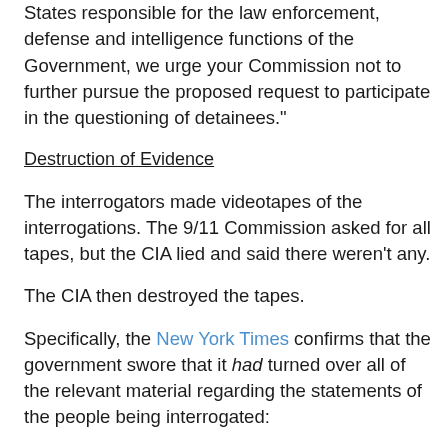States responsible for the law enforcement, defense and intelligence functions of the Government, we urge your Commission not to further pursue the proposed request to participate in the questioning of detainees."
Destruction of Evidence
The interrogators made videotapes of the interrogations. The 9/11 Commission asked for all tapes, but the CIA lied and said there weren't any.
The CIA then destroyed the tapes.
Specifically, the New York Times confirms that the government swore that it had turned over all of the relevant material regarding the statements of the people being interrogated:
“The commission did formally request material of this kind from all relevant agencies, and the commission was assured that we had received all the material responsive to our request,” said Philip D. Zelikow, the commission’s...